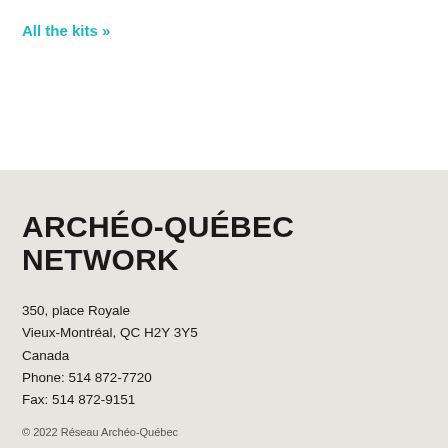All the kits »
ARCHÉO-QUÉBEC NETWORK
350, place Royale
Vieux-Montréal, QC H2Y 3Y5
Canada
Phone: 514 872-7720
Fax: 514 872-9151
© 2022 Réseau Archéo-Québec